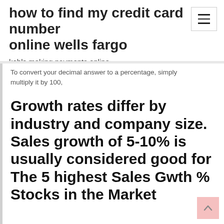how to find my credit card number online wells fargo
kohls making payments online
To convert your decimal answer to a percentage, simply multiply it by 100,
Growth rates differ by industry and company size. Sales growth of 5-10% is usually considered good for The 5 highest Sales Gwth % Stocks in the Market